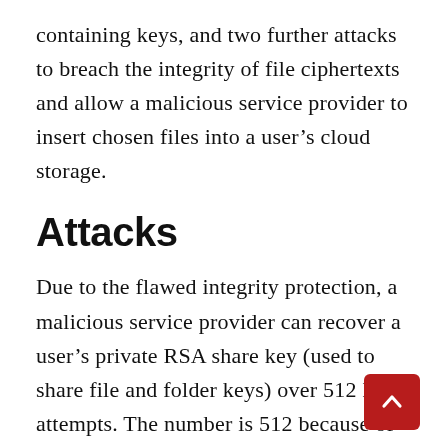containing keys, and two further attacks to breach the integrity of file ciphertexts and allow a malicious service provider to insert chosen files into a user’s cloud storage.
Attacks
Due to the flawed integrity protection, a malicious service provider can recover a user’s private RSA share key (used to share file and folder keys) over 512 login attempts. The number is 512 because of the RSA-CRT implementation used by MEGA clients to build an oracle that leaks one bit of